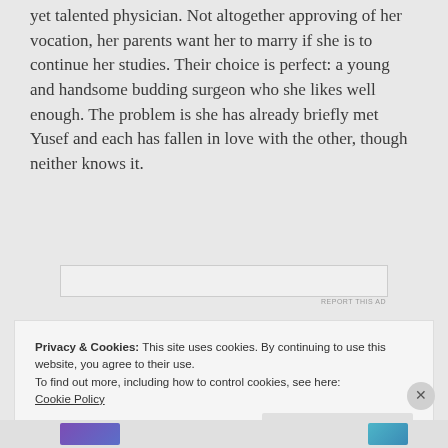yet talented physician. Not altogether approving of her vocation, her parents want her to marry if she is to continue her studies. Their choice is perfect: a young and handsome budding surgeon who she likes well enough. The problem is she has already briefly met Yusef and each has fallen in love with the other, though neither knows it.
Privacy & Cookies: This site uses cookies. By continuing to use this website, you agree to their use.
To find out more, including how to control cookies, see here:
Cookie Policy